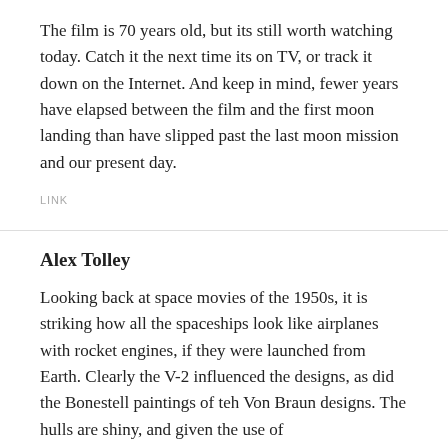The film is 70 years old, but its still worth watching today. Catch it the next time its on TV, or track it down on the Internet. And keep in mind, fewer years have elapsed between the film and the first moon landing than have slipped past the last moon mission and our present day.
LINK
Alex Tolley
Looking back at space movies of the 1950s, it is striking how all the spaceships look like airplanes with rocket engines, if they were launched from Earth. Clearly the V-2 influenced the designs, as did the Bonestell paintings of teh Von Braun designs. The hulls are shiny, and given the use of